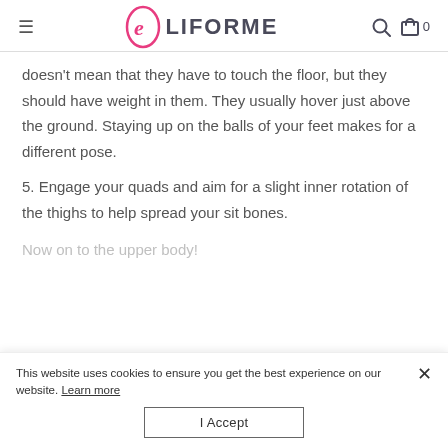LIFORME
doesn't mean that they have to touch the floor, but they should have weight in them. They usually hover just above the ground. Staying up on the balls of your feet makes for a different pose.
5. Engage your quads and aim for a slight inner rotation of the thighs to help spread your sit bones.
Now on to the upper body!
This website uses cookies to ensure you get the best experience on our website. Learn more
I Accept